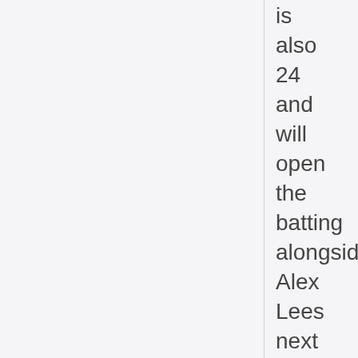is also 24 and will open the batting alongside Alex Lees next week. "We chat a lot,"